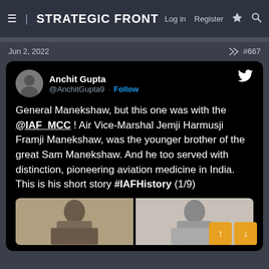STRATEGIC FRONT — Log in  Register
Jun 2, 2022   #667
[Figure (screenshot): Embedded tweet from @AnchitGupta9 (Anchit Gupta) with Twitter bird logo. Tweet text: General Manekshaw, but this one was with the @IAF_MCC ! Air Vice-Marshal Jemji Harmusji Framji Manekshaw, was the younger brother of the great Sam Manekshaw. And he too served with distinction, pioneering aviation medicine in India. This is his short story #IAFHistory (1/9). Below the tweet are two historical photographs partially visible.]
General Manekshaw, but this one was with the @IAF_MCC ! Air Vice-Marshal Jemji Harmusji Framji Manekshaw, was the younger brother of the great Sam Manekshaw. And he too served with distinction, pioneering aviation medicine in India. This is his short story #IAFHistory (1/9)